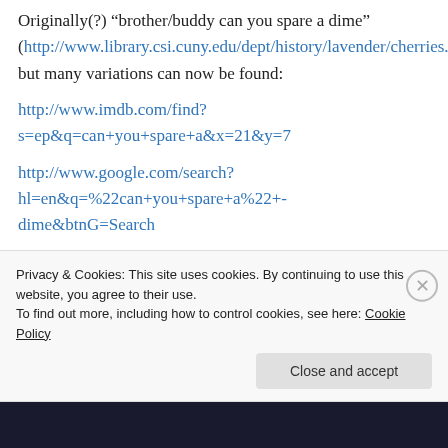Originally(?) “brother/buddy can you spare a dime” (http://www.library.csi.cuny.edu/dept/history/lavender/cherries.html), but many variations can now be found:
http://www.imdb.com/find?s=ep&q=can+you+spare+a&x=21&y=7
http://www.google.com/search?hl=en&q=%22can+you+spare+a%22+-dime&btnG=Search
Privacy & Cookies: This site uses cookies. By continuing to use this website, you agree to their use.
To find out more, including how to control cookies, see here: Cookie Policy